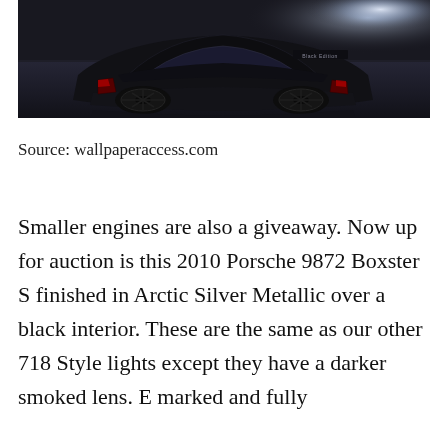[Figure (photo): Rear view of a black Porsche sports car in a dark studio setting with dramatic lighting on a grey reflective floor. A 'Black Edition' badge is visible on the rear.]
Source: wallpaperaccess.com
Smaller engines are also a giveaway. Now up for auction is this 2010 Porsche 9872 Boxster S finished in Arctic Silver Metallic over a black interior. These are the same as our other 718 Style lights except they have a darker smoked lens. E marked and fully